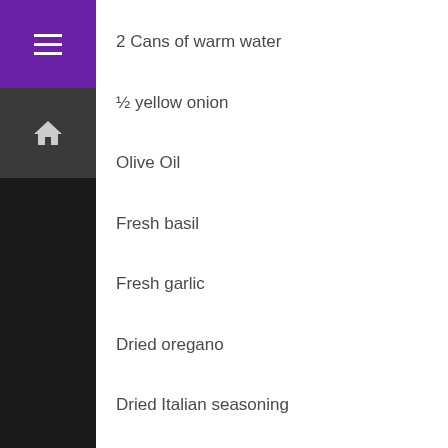[Figure (illustration): Purple top bar with hamburger menu icon in white, followed by dark gray home icon section below]
2 Cans of warm water
½ yellow onion
Olive Oil
Fresh basil
Fresh garlic
Dried oregano
Dried Italian seasoning